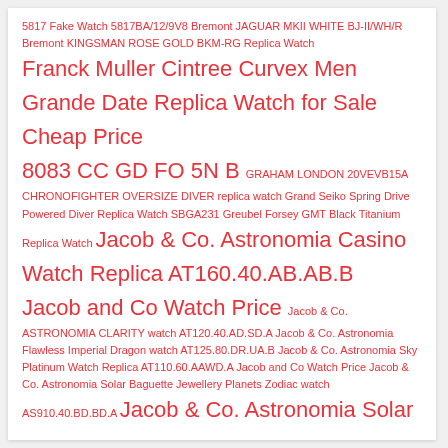5817 Fake Watch 5817BA/12/9V8 Bremont JAGUAR MKII WHITE BJ-II/WH/R Bremont KINGSMAN ROSE GOLD BKM-RG Replica Watch Franck Muller Cintree Curvex Men Grande Date Replica Watch for Sale Cheap Price 8083 CC GD FO 5N B GRAHAM LONDON 20VEVB15A CHRONOFIGHTER OVERSIZE DIVER replica watch Grand Seiko Spring Drive Powered Diver Replica Watch SBGA231 Greubel Forsey GMT Black Titanium Replica Watch Jacob & Co. Astronomia Casino Watch Replica AT160.40.AB.AB.B Jacob and Co Watch Price Jacob & Co. ASTRONOMIA CLARITY watch AT120.40.AD.SD.A Jacob & Co. Astronomia Flawless Imperial Dragon watch AT125.80.DR.UA.B Jacob & Co. Astronomia Sky Platinum Watch Replica AT110.60.AAWD.A Jacob and Co Watch Price Jacob & Co. Astronomia Solar Baguette Jewellery Planets Zodiac watch AS910.40.BD.BD.A Jacob & Co. Astronomia Solar